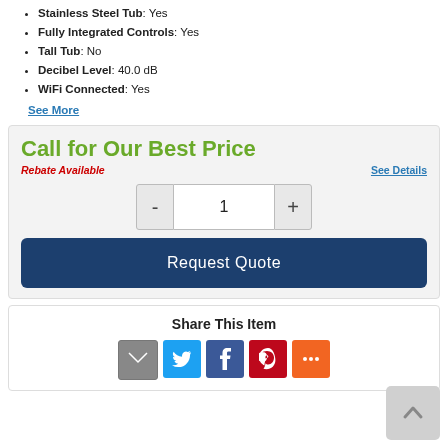Stainless Steel Tub: Yes
Fully Integrated Controls: Yes
Tall Tub: No
Decibel Level: 40.0 dB
WiFi Connected: Yes
See More
Call for Our Best Price
Rebate Available
See Details
1
Request Quote
Share This Item
[Figure (infographic): Social share icons: Email, Twitter, Facebook, Pinterest, More]